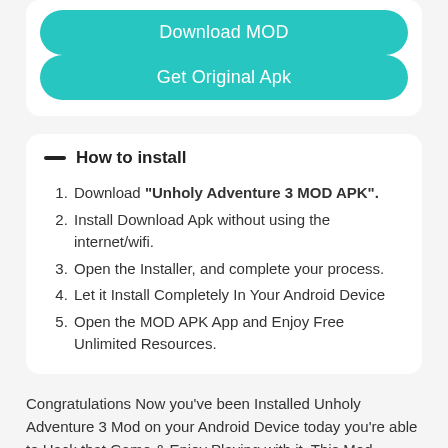[Figure (other): Teal rounded button labeled 'Download MOD']
[Figure (other): Teal rounded button labeled 'Get Original Apk']
How to install
Download "Unholy Adventure 3 MOD APK".
Install Download Apk without using the internet/wifi.
Open the Installer, and complete your process.
Let it Install Completely In Your Android Device
Open the MOD APK App and Enjoy Free Unlimited Resources.
Congratulations Now you've been Installed Unholy Adventure 3 Mod on your Android Device today you're able to Hack that Game & Enjoy Playing with it. This Mod Comes Using Truly Amazing Features So Only Download The Mod By After Above Procedure &